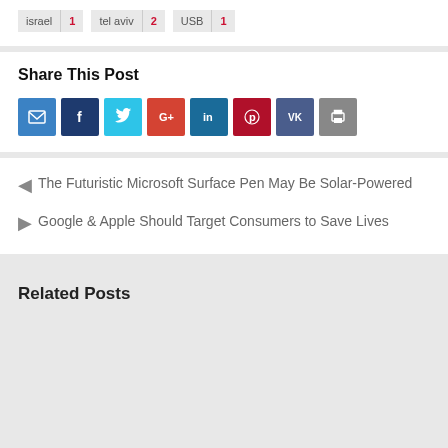israel 1
tel aviv 2
USB 1
Share This Post
[Figure (infographic): Row of 8 social share buttons: email (blue), facebook (dark blue), twitter (cyan), google+ (red), linkedin (dark teal), pinterest (dark red), vk (dark blue-gray), print (gray)]
◀ The Futuristic Microsoft Surface Pen May Be Solar-Powered
▶ Google & Apple Should Target Consumers to Save Lives
Related Posts